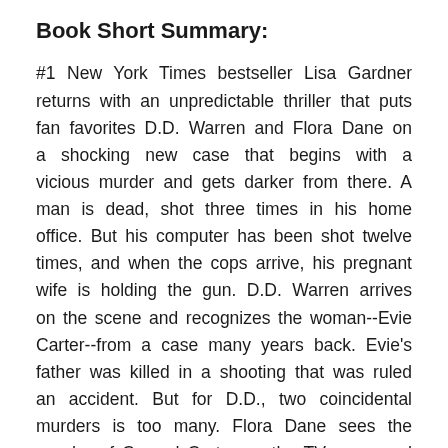Book Short Summary:
#1 New York Times bestseller Lisa Gardner returns with an unpredictable thriller that puts fan favorites D.D. Warren and Flora Dane on a shocking new case that begins with a vicious murder and gets darker from there. A man is dead, shot three times in his home office. But his computer has been shot twelve times, and when the cops arrive, his pregnant wife is holding the gun. D.D. Warren arrives on the scene and recognizes the woman--Evie Carter--from a case many years back. Evie's father was killed in a shooting that was ruled an accident. But for D.D., two coincidental murders is too many. Flora Dane sees the murder of Conrad Carter on the TV news and immediately know...